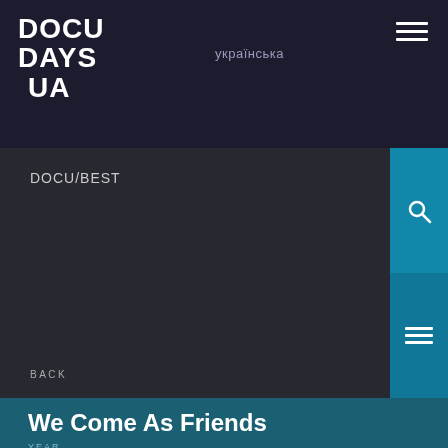DOCU DAYS UA
українська
DOCU/BEST
BACK
We Come As Friends
YEAR
2014
COUNTRY
France, Austria
DURATION
105"